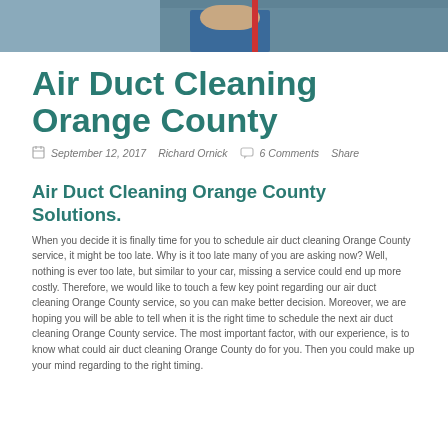[Figure (photo): Top portion of a photo showing a person in a blue shirt, partially cropped at the top of the page]
Air Duct Cleaning Orange County
September 12, 2017   Richard Ornick   6 Comments   Share
Air Duct Cleaning Orange County Solutions.
When you decide it is finally time for you to schedule air duct cleaning Orange County service, it might be too late. Why is it too late many of you are asking now? Well, nothing is ever too late, but similar to your car, missing a service could end up more costly. Therefore, we would like to touch a few key point regarding our air duct cleaning Orange County service, so you can make better decision. Moreover, we are hoping you will be able to tell when it is the right time to schedule the next air duct cleaning Orange County service. The most important factor, with our experience, is to know what could air duct cleaning Orange County do for you. Then you could make up your mind regarding to the right timing.